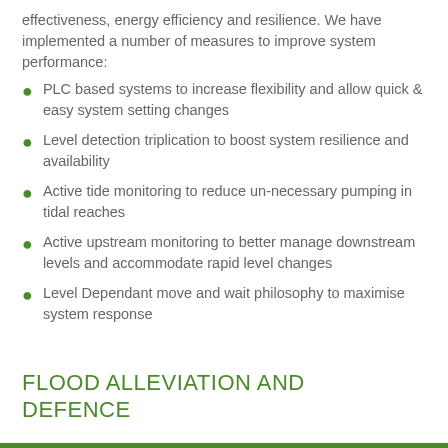effectiveness, energy efficiency and resilience. We have implemented a number of measures to improve system performance:
PLC based systems to increase flexibility and allow quick & easy system setting changes
Level detection triplication to boost system resilience and availability
Active tide monitoring to reduce un-necessary pumping in tidal reaches
Active upstream monitoring to better manage downstream levels and accommodate rapid level changes
Level Dependant move and wait philosophy to maximise system response
FLOOD ALLEVIATION AND DEFENCE